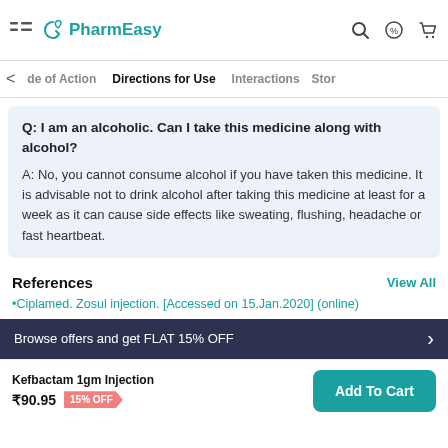PharmEasy
de of Action   Directions for Use   Interactions   Stor
Q: I am an alcoholic. Can I take this medicine along with alcohol?
A: No, you cannot consume alcohol if you have taken this medicine. It is advisable not to drink alcohol after taking this medicine at least for a week as it can cause side effects like sweating, flushing, headache or fast heartbeat.
References
View All
•Ciplamed. Zosul injection. [Accessed on 15.Jan.2020] (online)
Browse offers and get FLAT 15% OFF
Kefbactam 1gm Injection
₹90.95  15% OFF
Add To Cart